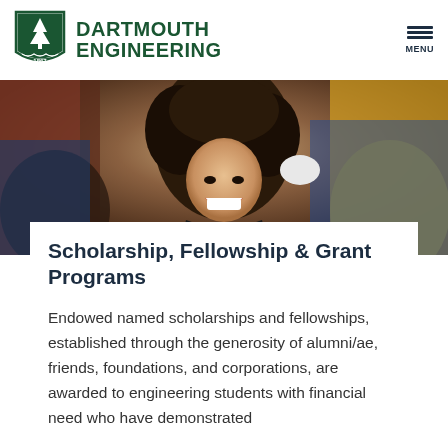DARTMOUTH ENGINEERING
[Figure (photo): Graduation photo showing a smiling woman with curly dark hair in academic regalia, with other graduates in the background wearing blue and yellow academic gowns]
Scholarship, Fellowship & Grant Programs
Endowed named scholarships and fellowships, established through the generosity of alumni/ae, friends, foundations, and corporations, are awarded to engineering students with financial need who have demonstrated